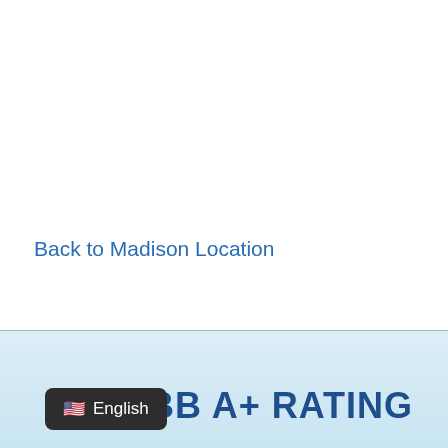Back to Madison Location
[Figure (screenshot): Language selector tooltip showing US flag and 'English' label in dark rounded tooltip box]
BB A+ RATING